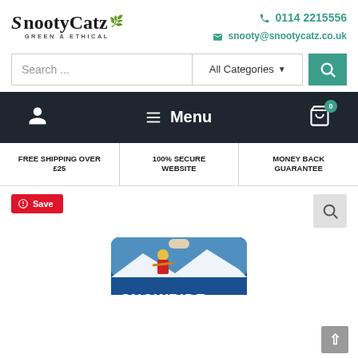[Figure (logo): SnootyCatz logo with leaf icons - GREEN & ETHICAL tagline]
0114 2215556
snooty@snootycatz.co.uk
[Figure (screenshot): Search bar with 'Search ...' input, 'All Categories' dropdown, and teal search button]
[Figure (screenshot): Dark nav bar with user icon, hamburger Menu, and cart icon with badge 0]
FREE SHIPPING OVER £25
100% SECURE WEBSITE
MONEY BACK GUARANTEE
[Figure (screenshot): Red Pinterest Save button on left, magnifier search icon on right, product image of Snowride card partially visible at bottom]